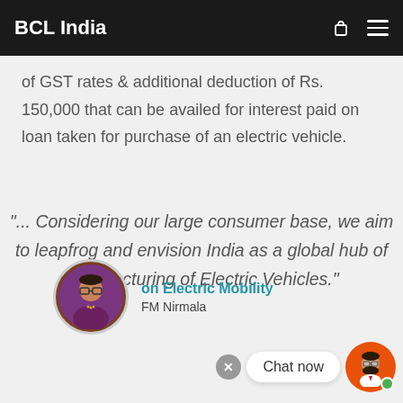BCL India
of GST rates & additional deduction of Rs. 150,000 that can be availed for interest paid on loan taken for purchase of an electric vehicle.
"... Considering our large consumer base, we aim to leapfrog and envision India as a global hub of manufacturing of Electric Vehicles."
[Figure (photo): Circular profile photo of FM Nirmala Sitharaman with caption 'on Electric Mobility FM Nirmala']
Chat now